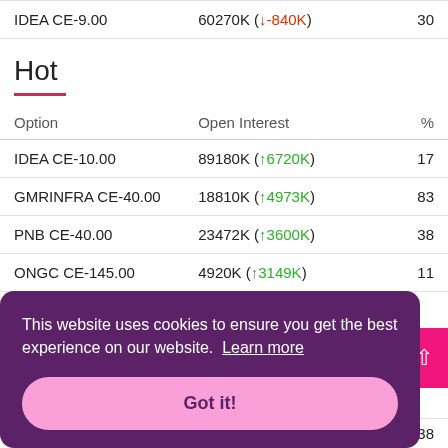| Option | Open Interest | % |
| --- | --- | --- |
| IDEA CE-9.00 | 60270K (↓-840K) | 30 |
Hot
| Option | Open Interest | % |
| --- | --- | --- |
| IDEA CE-10.00 | 89180K (↑6720K) | 17 |
| GMRINFRA CE-40.00 | 18810K (↑4973K) | 83 |
| PNB CE-40.00 | 23472K (↑3600K) | 38 |
| ONGC CE-145.00 | 4920K (↑3149K) | 11 |
This website uses cookies to ensure you get the best experience on our website. Learn more
Got it!
38